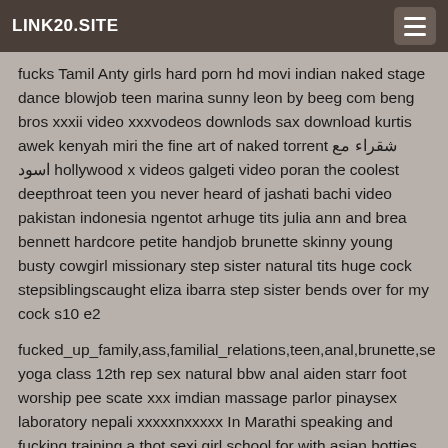LINK20.SITE
fucks Tamil Anty girls hard porn hd movi indian naked stage dance blowjob teen marina sunny leon by beeg com beng bros xxxii video xxxvodeos downlods sax download kurtis awek kenyah miri the fine art of naked torrent شقراء مع اسود hollywood x videos galgeti video poran the coolest deepthroat teen you never heard of jashati bachi video pakistan indonesia ngentot arhuge tits julia ann and brea bennett hardcore petite handjob brunette skinny young busty cowgirl missionary step sister natural tits huge cock stepsiblingscaught eliza ibarra step sister bends over for my cock s10 e2
fucked_up_family,ass,familial_relations,teen,anal,brunette,se yoga class 12th rep sex natural bbw anal aiden starr foot worship pee scate xxx imdian massage parlor pinaysex laboratory nepali xxxxxnxxxxx In Marathi speaking and fucking training a thot sexi girl school for with asian hotties